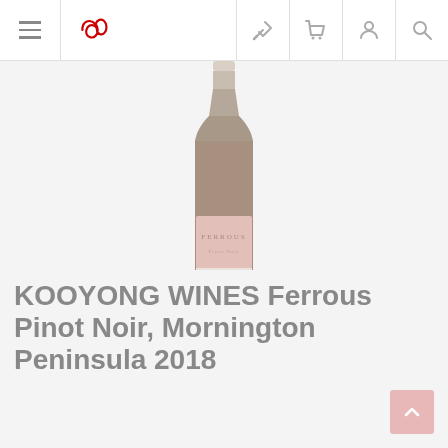Navigation bar with hamburger menu, Cellarmaster logo, auction icon, cart icon, account icon, search icon
[Figure (photo): Wine bottle of Kooyong Wines Ferrous Pinot Noir with pale pink label reading FERROUS, set against a light grey background]
KOOYONG WINES Ferrous Pinot Noir, Mornington Peninsula 2018